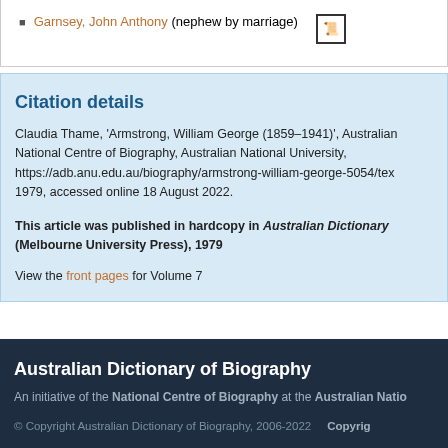Garnsey, John Anthony (nephew by marriage)
Citation details
Claudia Thame, 'Armstrong, William George (1859–1941)', Australian Dictionary of Biography, National Centre of Biography, Australian National University, https://adb.anu.edu.au/biography/armstrong-william-george-5054/text, 1979, accessed online 18 August 2022.
This article was published in hardcopy in Australian Dictionary (Melbourne University Press), 1979
View the front pages for Volume 7
Australian Dictionary of Biography
An initiative of the National Centre of Biography at the Australian National University
© Copyright Australian Dictionary of Biography, 2006-2022